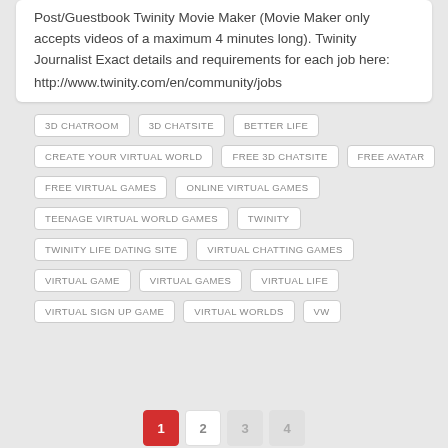Post/Guestbook Twinity Movie Maker (Movie Maker only accepts videos of a maximum 4 minutes long). Twinity Journalist Exact details and requirements for each job here:
http://www.twinity.com/en/community/jobs
3D CHATROOM
3D CHATSITE
BETTER LIFE
CREATE YOUR VIRTUAL WORLD
FREE 3D CHATSITE
FREE AVATAR
FREE VIRTUAL GAMES
ONLINE VIRTUAL GAMES
TEENAGE VIRTUAL WORLD GAMES
TWINITY
TWINITY LIFE DATING SITE
VIRTUAL CHATTING GAMES
VIRTUAL GAME
VIRTUAL GAMES
VIRTUAL LIFE
VIRTUAL SIGN UP GAME
VIRTUAL WORLDS
VW